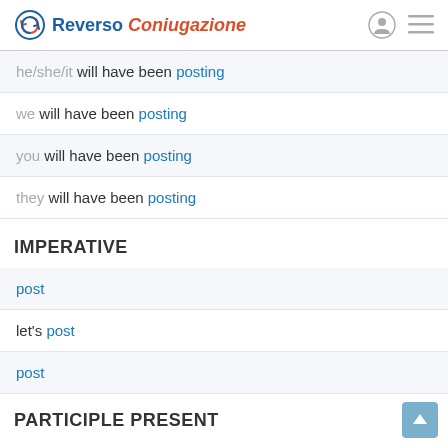Reverso Coniugazione
he/she/it will have been posting
we will have been posting
you will have been posting
they will have been posting
IMPERATIVE
post
let's post
post
PARTICIPLE PRESENT